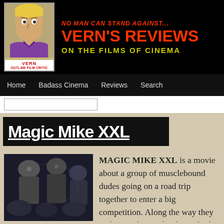[Figure (illustration): Comic-style illustration of Vern, a tough-looking man with blonde hair and purple shirt. Below the illustration is text reading VERN OUTLAW FILM CRITIC on white background.]
NO MAN CAN STAND AGAINST... VERN'S REVIEWS ON THE FILMS OF CINEMA
Home   Badass Cinema   Reviews   Search
Magic Mike XXL
[Figure (photo): Black and white movie still from Magic Mike XXL showing muscular men.]
MAGIC MIKE XXL is a movie about a group of musclebound dudes going on a road trip together to enter a big competition. Along the way they pick up girls, get drunk, get high